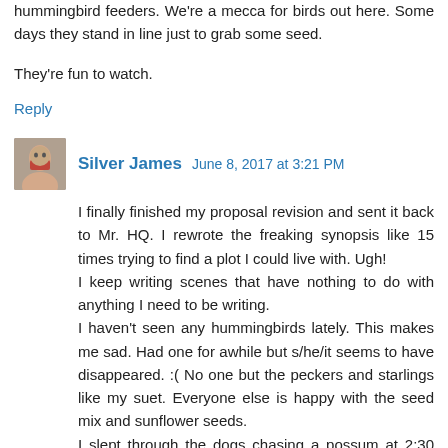hummingbird feeders. We're a mecca for birds out here. Some days they stand in line just to grab some seed.
They're fun to watch.
Reply
Silver James  June 8, 2017 at 3:21 PM
I finally finished my proposal revision and sent it back to Mr. HQ. I rewrote the freaking synopsis like 15 times trying to find a plot I could live with. Ugh!
I keep writing scenes that have nothing to do with anything I need to be writing.
I haven't seen any hummingbirds lately. This makes me sad. Had one for awhile but s/he/it seems to have disappeared. :( No one but the peckers and starlings like my suet. Everyone else is happy with the seed mix and sunflower seeds.
I slept through the dogs chasing a possum at 2:30 this